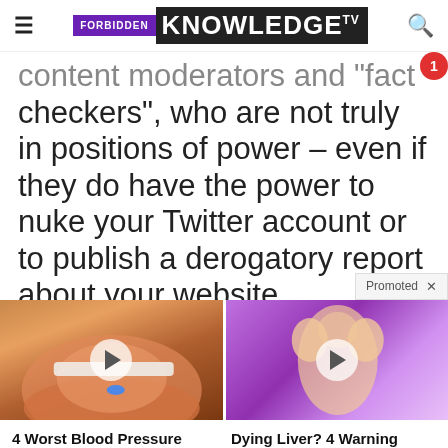FORBIDDEN KNOWLEDGE TV
content moderators and “fact checkers”, who are not truly in positions of power – even if they do have the power to nuke your Twitter account or to publish a derogatory report about your website
Promoted
[Figure (photo): Close-up photo of mouth with tongue out and a blue pill, with play button overlay]
[Figure (photo): Illustration of person with arms raised showing armpit area on purple background, with play button overlay]
4 Worst Blood Pressure Drugs (Avoid At All Costs)
Watch The Video
Dying Liver? 4 Warning Signs Of Dying Liver (#2 is Scary)
Watch The Video